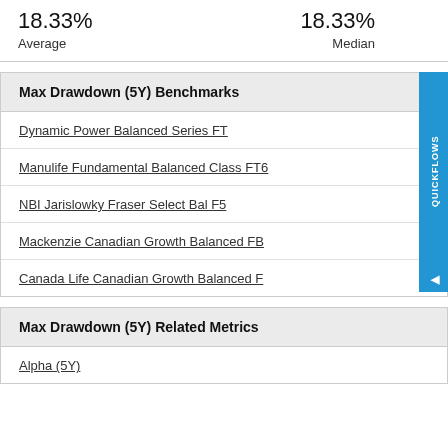18.33% Average
18.33% Median
Max Drawdown (5Y) Benchmarks
Dynamic Power Balanced Series FT
Manulife Fundamental Balanced Class FT6
NBI Jarislowky Fraser Select Bal F5
Mackenzie Canadian Growth Balanced FB
Canada Life Canadian Growth Balanced F
Max Drawdown (5Y) Related Metrics
Alpha (5Y)